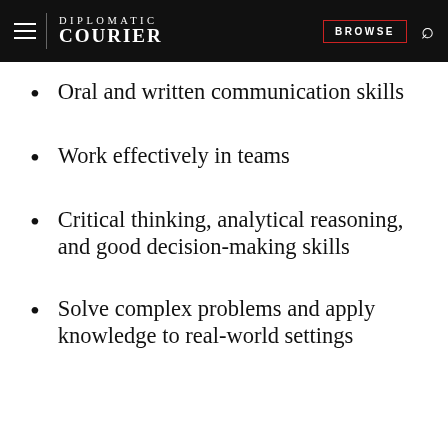DIPLOMATIC COURIER | BROWSE
Oral and written communication skills
Work effectively in teams
Critical thinking, analytical reasoning, and good decision-making skills
Solve complex problems and apply knowledge to real-world settings